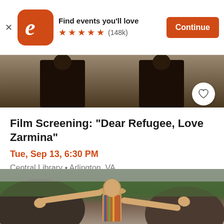[Figure (screenshot): Eventbrite app banner ad showing orange app icon with 'e' logo, text 'Find events you'll love', 5 orange stars, (148k) reviews, and orange 'Continue' button]
[Figure (photo): Top film still showing two dark figures against a warm-toned background, with a white heart/favorite button overlay in bottom right]
Film Screening: "Dear Refugee, Love Zarmina"
Tue, Sep 13, 6:30 PM
Central Library • Arlington, VA
Free
[Figure (photo): Bottom film still showing a person with arms outstretched wearing a hat and colorful top, against a green mountainous background]